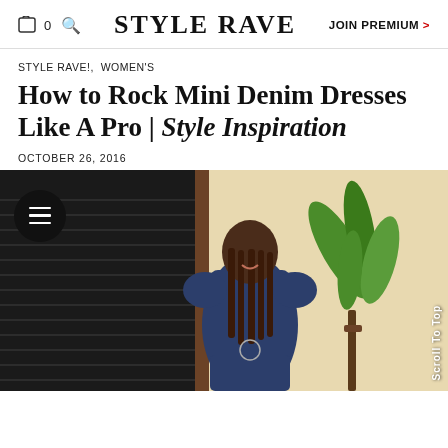STYLE RAVE  |  JOIN PREMIUM >
STYLE RAVE!,  WOMEN'S
How to Rock Mini Denim Dresses Like A Pro | Style Inspiration
OCTOBER 26, 2016
[Figure (photo): A woman wearing an off-shoulder dark denim mini dress, smiling, standing in front of a building with a plant visible in the background. A circular hamburger menu icon overlays the top-left of the image. 'Scroll To Top' text appears vertically on the right side of the image.]